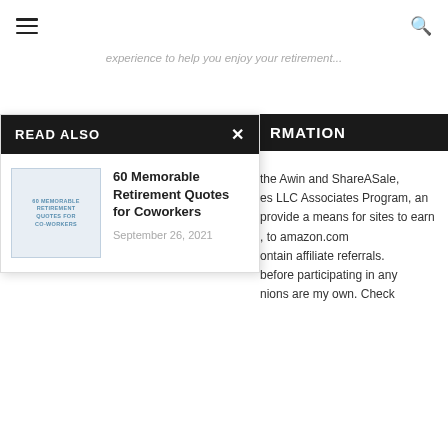Menu | Search icons
...experience to help you enjoy your retirement...
READ ALSO
[Figure (illustration): Thumbnail image for '60 Memorable Retirement Quotes for Coworkers' article with light blue text on white background]
60 Memorable Retirement Quotes for Coworkers
September 26, 2021
RMATION
the Awin and ShareASale, es LLC Associates Program, an provide a means for sites to earn , to amazon.com ontain affiliate referrals. before participating in any nions are my own. Check